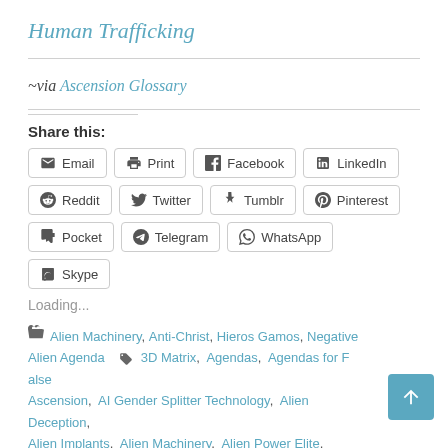Human Trafficking
~via Ascension Glossary
Share this:
Email  Print  Facebook  LinkedIn  Reddit  Twitter  Tumblr  Pinterest  Pocket  Telegram  WhatsApp  Skype
Loading...
Alien Machinery, Anti-Christ, Hieros Gamos, Negative Alien Agenda  3D Matrix, Agendas, Agendas for False Ascension, AI Gender Splitter Technology, Alien Deception, Alien Implants, Alien Machinery, Alien Power Elite, Aliens,